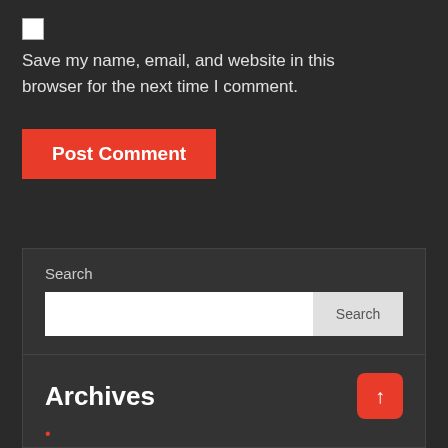[Figure (screenshot): Checkbox (unchecked, white square)]
Save my name, email, and website in this browser for the next time I comment.
[Figure (screenshot): Post Comment button (red/orange background, white bold text)]
Search
[Figure (screenshot): Search input box (white) and Search button (light grey)]
Archives
December 2021